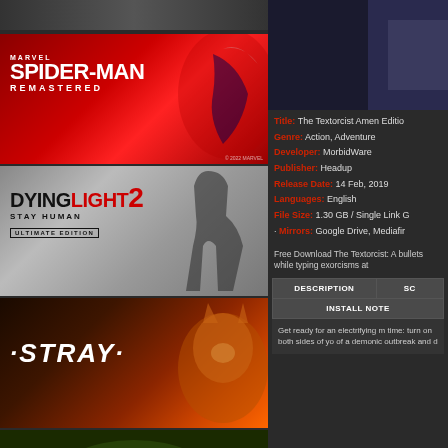[Figure (screenshot): Left column showing game cover images: partial top strip, Marvel's Spider-Man Remastered cover (red background), Dying Light 2 Stay Human Ultimate Edition cover (gray background), Stray game cover (orange background), and partial bottom image]
[Figure (screenshot): Right column top: partial game image on dark background]
Title: The Textorcist Amen Edition
Genre: Action, Adventure
Developer: MorbidWare
Publisher: Headup
Release Date: 14 Feb, 2019
Languages: English
File Size: 1.30 GB / Single Link G
Mirrors: Google Drive, Mediafir
Free Download The Textorcist: A bullets while typing exorcisms at
DESCRIPTION
SC
INSTALL NOTE
Get ready for an electrifying m time: turn on both sides of you of a demonic outbreak and d